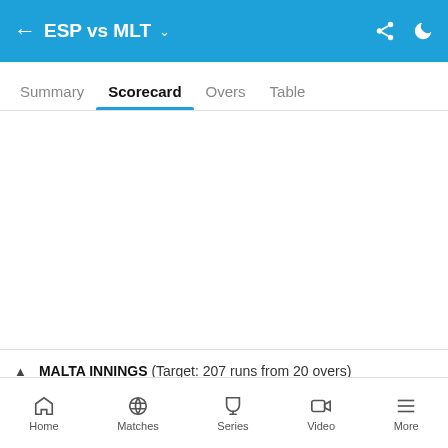ESP vs MLT
Summary  Scorecard  Overs  Table
MALTA INNINGS (Target: 207 runs from 20 overs)
| BATTING | R | B | 4s | 6s | SR |
| --- | --- | --- | --- | --- | --- |
Home  Matches  Series  Video  More